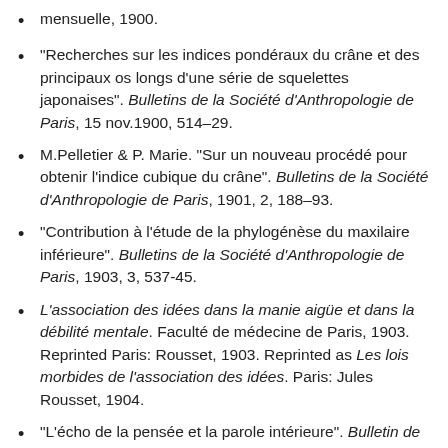mensuelle, 1900.
"Recherches sur les indices pondéraux du crâne et des principaux os longs d'une série de squelettes japonaises". Bulletins de la Société d'Anthropologie de Paris, 15 nov.1900, 514–29.
M.Pelletier & P. Marie. "Sur un nouveau procédé pour obtenir l'indice cubique du crâne". Bulletins de la Société d'Anthropologie de Paris, 1901, 2, 188–93.
"Contribution à l'étude de la phylogénèse du maxilaire inférieure". Bulletins de la Société d'Anthropologie de Paris, 1903, 3, 537-45.
L'association des idées dans la manie aigüe et dans la débilité mentale. Faculté de médecine de Paris, 1903. Reprinted Paris: Rousset, 1903. Reprinted as Les lois morbides de l'association des idées. Paris: Jules Rousset, 1904.
"L'écho de la pensée et la parole intérieure". Bulletin de l'Institut Général Psychologique. (Séance du 6